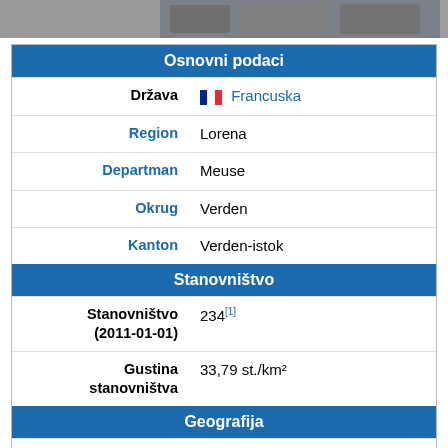[Figure (photo): Partial photograph of a building/street scene, cropped at top]
| Osnovni podaci |  |
| Država | Francuska |
| Region | Lorena |
| Departman | Meuse |
| Okrug | Verden |
| Kanton | Verden-istok |
| Stanovništvo |  |
| Stanovništvo (2011-01-01) | 234[1] |
| Gustina stanovništva | 33,79 st./km² |
| Geografija |  |
| Koordinate | 49°02′12″N 5°26′17″E / 49.0366666666667°N 5.43805555555556°E |